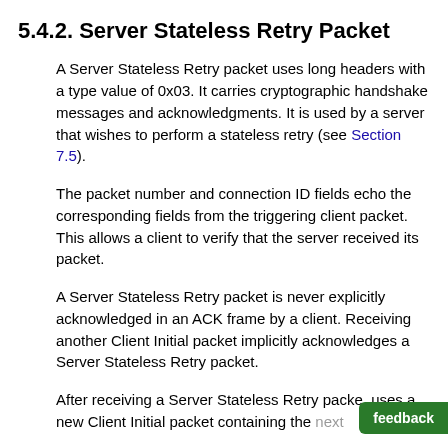5.4.2. Server Stateless Retry Packet
A Server Stateless Retry packet uses long headers with a type value of 0x03. It carries cryptographic handshake messages and acknowledgments. It is used by a server that wishes to perform a stateless retry (see Section 7.5).
The packet number and connection ID fields echo the corresponding fields from the triggering client packet. This allows a client to verify that the server received its packet.
A Server Stateless Retry packet is never explicitly acknowledged in an ACK frame by a client. Receiving another Client Initial packet implicitly acknowledges a Server Stateless Retry packet.
After receiving a Server Stateless Retry packet, uses a new Client Initial packet containing the next